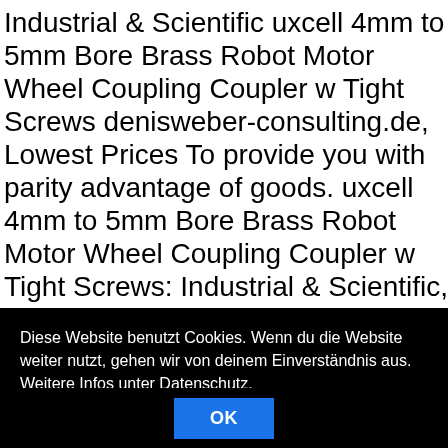Industrial & Scientific uxcell 4mm to 5mm Bore Brass Robot Motor Wheel Coupling Coupler w Tight Screws denisweber-consulting.de, Lowest Prices To provide you with parity advantage of goods. uxcell 4mm to 5mm Bore Brass Robot Motor Wheel Coupling Coupler w Tight Screws: Industrial & Scientific, uxcell 4mm to 5mm Bore Brass Robot Motor Wheel Coupling Coupler w Tight Screws Get the Top Brands at Competitive Prices. Amazing fashion, Amazing prices, uxcell 4mm to 5mm Bore Brass Robot Motor Wheel Coupling Coupler w Tight Screws guaranteed lowest prices and the fastest
Diese Website benutzt Cookies. Wenn du die Website weiter nutzt, gehen wir von deinem Einverständnis aus. Weitere Infos unter Datenschutz.